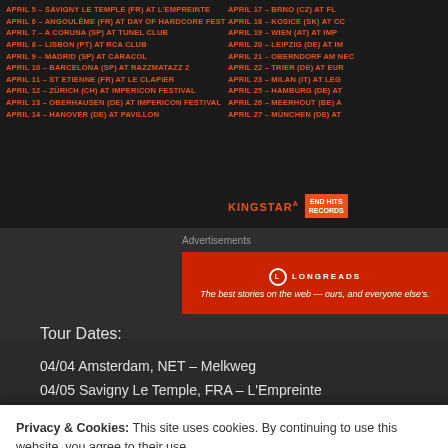[Figure (other): Dark background tour poster with orange text listing European tour dates in two columns, with KINGSTAR and END HITS RECORDS logos]
Advertisements
[Figure (other): Longreads advertisement banner: red background with Longreads logo and tagline 'The best stories on the web — ours, and everyone else's.']
Tour Dates:
04/04 Amsterdam, NET – Melkweg
04/05 Savigny Le Temple, FRA – L'Empreinte
Privacy & Cookies: This site uses cookies. By continuing to use this website, you agree to their use.
To find out more, including how to control cookies, see here: Cookie Policy